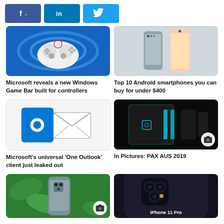[Figure (other): Social share buttons: Facebook, LinkedIn, Twitter]
[Figure (photo): Xbox controller on Windows 11 blue swirl background]
[Figure (photo): Two Android smartphones, one blue and one pink/peach]
Microsoft reveals a new Windows Game Bar built for controllers
Top 10 Android smartphones you can buy for under $400
[Figure (logo): Microsoft Outlook logo - blue O with envelope]
[Figure (photo): Gaming PC with teal/cyan lighting inside dark case, camera badge in corner]
Microsoft's universal 'One Outlook' client just leaked out
In Pictures: PAX AUS 2019
[Figure (photo): Hand holding Huawei smartphone with green plant background, camera badge]
[Figure (photo): iPhone 11 Pro camera detail on dark background with 'iPhone 11 Pro' text]